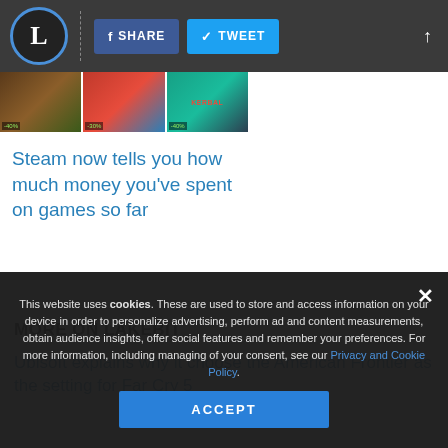Lakebit — SHARE | TWEET
[Figure (screenshot): Strip of three game thumbnail images including Kerbal Space Program]
Steam now tells you how much money you've spent on games so far
MORE ON LAKEBIT
Ubisoft explains why it choose the American Frontier as the setting for Far Cry 5
This website uses cookies. These are used to store and access information on your device in order to personalize advertising, perform ad and content measurements, obtain audience insights, offer social features and remember your preferences. For more information, including managing of your consent, see our Privacy and Cookie Policy. ACCEPT